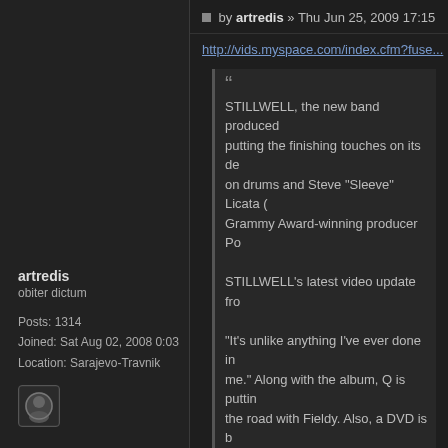artredis
obiter dictum
Posts: 1314
Joined: Sat Aug 02, 2008 0:03
Location: Sarajevo-Travnik
by artredis » Thu Jun 25, 2009 17:15
http://vids.myspace.com/index.cfm?fuse...
STILLWELL, the new band produced putting the finishing touches on its de on drums and Steve "Sleeve" Licata Grammy Award-winning producer Po
STILLWELL's latest video update fro
"It's unlike anything I've ever done in me." Along with the album, Q is puttin the road with Fieldy. Also, a DVD is b the DVD from KORN's untitled album
Last edited by artredis on Thu Jun 25, 2009 17:
VJEČNO DOLE!
NBOM blogger